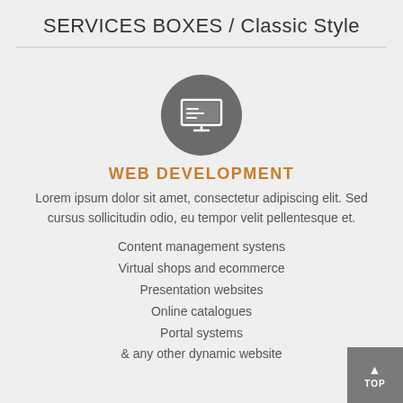SERVICES BOXES / Classic Style
[Figure (illustration): Dark gray circle with a white computer monitor icon showing lines of code on screen]
WEB DEVELOPMENT
Lorem ipsum dolor sit amet, consectetur adipiscing elit. Sed cursus sollicitudin odio, eu tempor velit pellentesque et.
Content management systens
Virtual shops and ecommerce
Presentation websites
Online catalogues
Portal systems
& any other dynamic website